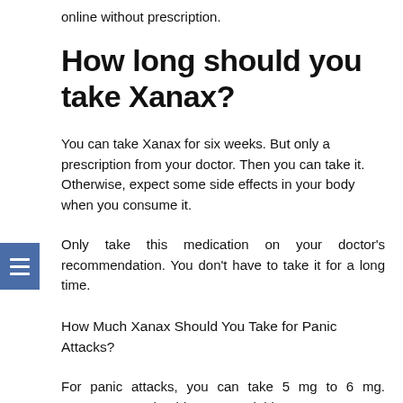online without prescription.
How long should you take Xanax?
You can take Xanax for six weeks. But only a prescription from your doctor. Then you can take it. Otherwise, expect some side effects in your body when you consume it.
Only take this medication on your doctor's recommendation. You don't have to take it for a long time.
How Much Xanax Should You Take for Panic Attacks?
For panic attacks, you can take 5 mg to 6 mg. However, you should not exceed this amount.